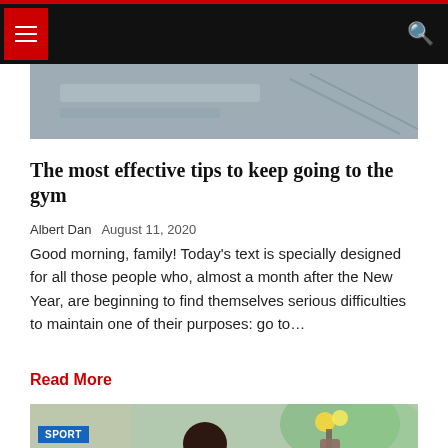[Figure (photo): Partial hero image showing gym/exercise equipment in grayscale tones]
The most effective tips to keep going to the gym
Albert Dan   August 11, 2020
Good morning, family! Today's text is specially designed for all those people who, almost a month after the New Year, are beginning to find themselves serious difficulties to maintain one of their purposes: go to…
Read More
[Figure (photo): Woman leaning over a wooden table indoors with flowers and greenery visible in background. SPORT badge overlay in blue.]